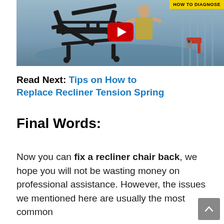[Figure (screenshot): YouTube video thumbnail showing a recliner chair mechanism/frame being worked on in a garage, with a person in a yellow vest and a cordless drill nearby. A red YouTube play button is overlaid in the center. Top right corner has a yellow badge reading 'HOW TO DIAGNOSE'.]
Read Next: Tips on How to Replace Recliner Tension Spring
Final Words:
Now you can fix a recliner chair back, we hope you will not be wasting money on professional assistance. However, the issues we mentioned here are usually the most common